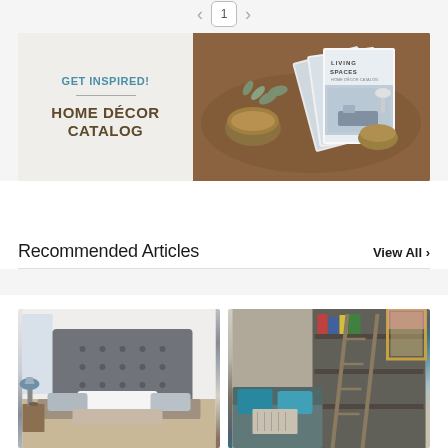< 1 >
[Figure (photo): Home décor catalog promotional banner. Left half: light gray background with 'GET INSPIRED!' in teal uppercase bold text, a horizontal dividing line, and 'HOME DÉCOR CATALOG' in large dark brown uppercase bold text. Right half: photo of Living Spaces home décor catalogs/magazines fanned out on a wooden tray with brass bowls and eucalyptus leaves.]
Recommended Articles
View All ›
[Figure (photo): Article thumbnail showing a bedroom scene with a grey tufted headboard, blue lamp, and decorative pillows.]
[Figure (photo): Article thumbnail showing a living room with teal/blue throw pillows on a sofa and shelving with a ladder in the background.]